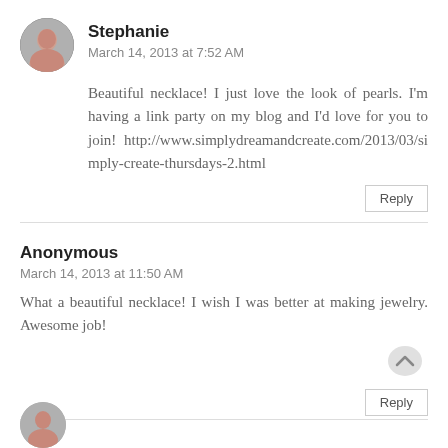Stephanie
March 14, 2013 at 7:52 AM
Beautiful necklace! I just love the look of pearls. I'm having a link party on my blog and I'd love for you to join! http://www.simplydreamandcreate.com/2013/03/simply-create-thursdays-2.html
Reply
Anonymous
March 14, 2013 at 11:50 AM
What a beautiful necklace! I wish I was better at making jewelry. Awesome job!
Reply